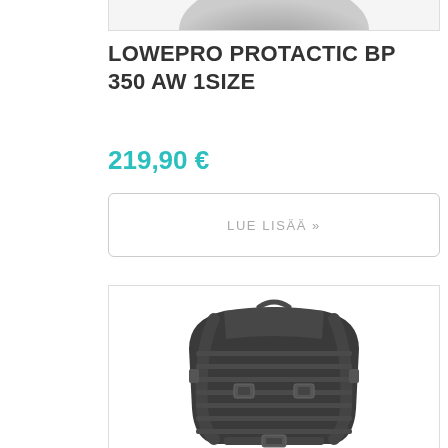[Figure (photo): Top portion of a black camera backpack product image, cropped at the top]
LOWEPRO PROTACTIC BP 350 AW 1SIZE
219,90 €
LUE LISÄÄ »
[Figure (photo): Black Lowepro camera backpack with MOLLE-style straps, buckles, and a structured design, photographed from the front]